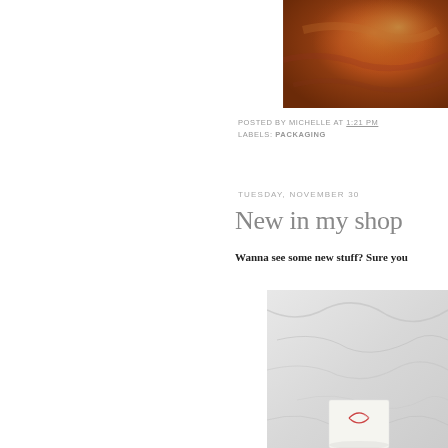[Figure (photo): Close-up photo of orange-red painted or textured surface with warm earthy tones]
POSTED BY MICHELLE AT 1:21 PM
LABELS: PACKAGING
TUESDAY, NOVEMBER 30
New in my shop
Wanna see some new stuff? Sure you
[Figure (photo): Photo of a white paper package tied with red and white baker's twine, on a marble surface]